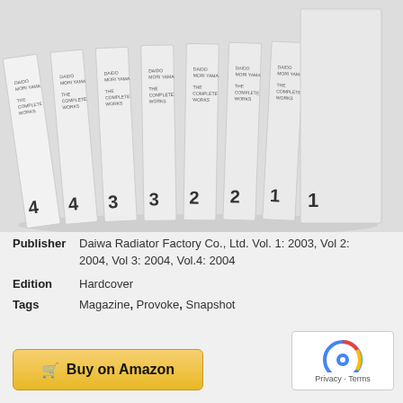[Figure (photo): Seven white hardcover books (volumes 1-4, with some duplicates) standing upright on a white shelf, showing their spines with numbers 4, 4, 3, 3, 2, 2, 1, 1 and text 'DAIDO MORIYAMA THE COMPLETE WORKS']
Publisher Daiwa Radiator Factory Co., Ltd. Vol. 1: 2003, Vol 2: 2004, Vol 3: 2004, Vol.4: 2004
Edition Hardcover
Tags Magazine, Provoke, Snapshot